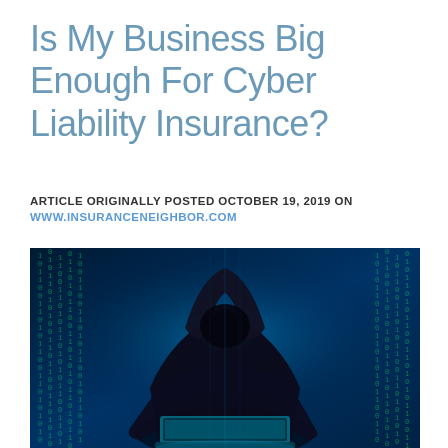Is My Business Big Enough For Cyber Liability Insurance?
ARTICLE ORIGINALLY POSTED OCTOBER 19, 2019 ON WWW.INSURANCENEIGHBOR.COM
[Figure (photo): A hooded hacker silhouette sitting in front of a laptop against a blue digital binary code background, suggesting cyber threat.]